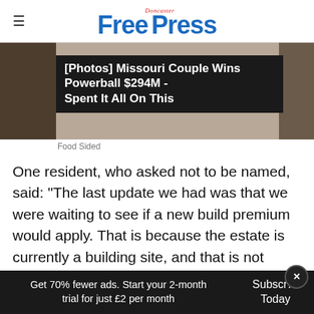Doncaster Free Press
[Figure (screenshot): Advertisement banner: [Photos] Missouri Couple Wins Powerball $294M - Spent It All On This, Food Sided]
Food Sided
One resident, who asked not to be named, said: "The last update we had was that we were waiting to see if a new build premium would apply. That is because the estate is currently a building site, and that is not valued as highly as if it was a completed estate.
Get 70% fewer ads. Start your 2-month trial for just £2 per month  Subscribe Today